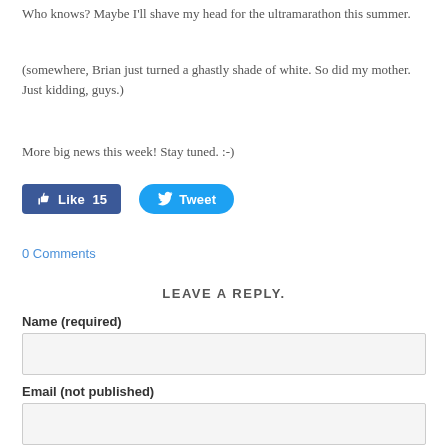Who knows? Maybe I'll shave my head for the ultramarathon this summer.
(somewhere, Brian just turned a ghastly shade of white. So did my mother. Just kidding, guys.)
More big news this week! Stay tuned. :-)
[Figure (other): Facebook Like button showing 15 likes and a Twitter Tweet button]
0 Comments
LEAVE A REPLY.
Name (required)
Email (not published)